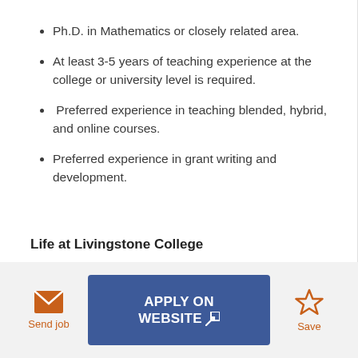Ph.D. in Mathematics or closely related area.
At least 3-5 years of teaching experience at the college or university level is required.
Preferred experience in teaching blended, hybrid, and online courses.
Preferred experience in grant writing and development.
Life at Livingstone College
Send job | APPLY ON WEBSITE | Save